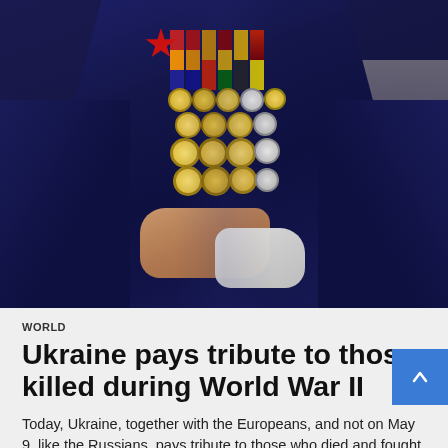[Figure (photo): Close-up photo of a military veteran wearing a dark navy jacket adorned with numerous medals and military decorations. The veteran's hands are clasped in front, one wearing a white glove. The background is blurred outdoor scenery.]
WORLD
Ukraine pays tribute to those killed during World War II
Today, Ukraine, together with the Europeans, and not on May 9, like the Russians, pays tribute to those who died and fought during World War II